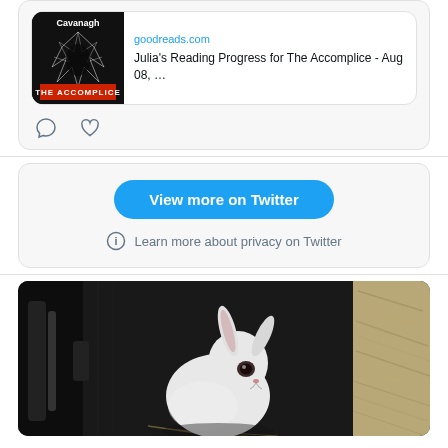[Figure (screenshot): Twitter/social media embedded card showing a Goodreads link preview for 'Julia's Reading Progress for The Accomplice - Aug 08, ...' with a book cover image on the left showing 'The Accomplice' book by Cavanagh with a shattered glass effect. Below the card are comment and like icons.]
[Figure (screenshot): Twitter embedded widget section with a blue 'View more on Twitter' button and 'Learn more about privacy on Twitter' text with an info icon below.]
[Figure (photo): Photo of a white rabbit with dark markings around its eye sitting inside what appears to be a dark pet carrier/bag, with hay/straw visible and a lighter colored surface on the right side.]